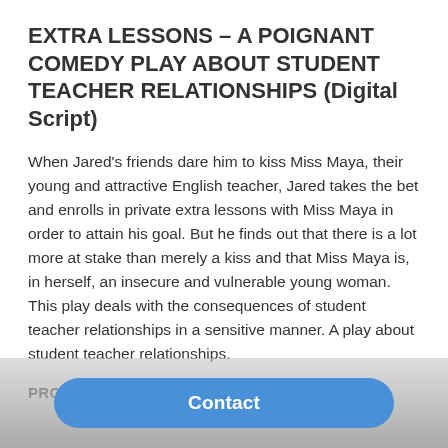EXTRA LESSONS – A POIGNANT COMEDY PLAY ABOUT STUDENT TEACHER RELATIONSHIPS (Digital Script)
When Jared's friends dare him to kiss Miss Maya, their young and attractive English teacher, Jared takes the bet and enrolls in private extra lessons with Miss Maya in order to attain his goal. But he finds out that there is a lot more at stake than merely a kiss and that Miss Maya is, in herself, an insecure and vulnerable young woman. This play deals with the consequences of student teacher relationships in a sensitive manner. A play about student teacher relationships.
PRODUCTION HISTORY
Contact